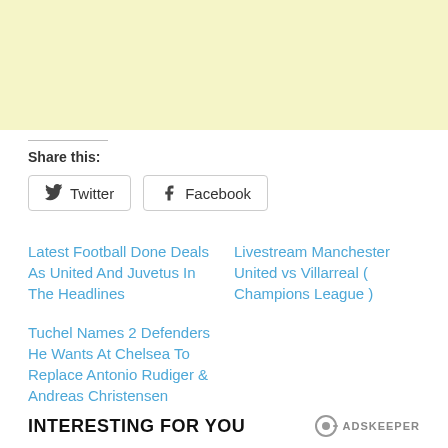[Figure (other): Light yellow advertisement banner placeholder]
Share this:
Twitter  Facebook
Latest Football Done Deals As United And Juvetus In The Headlines
Livestream Manchester United vs Villarreal ( Champions League )
Tuchel Names 2 Defenders He Wants At Chelsea To Replace Antonio Rudiger & Andreas Christensen
INTERESTING FOR YOU